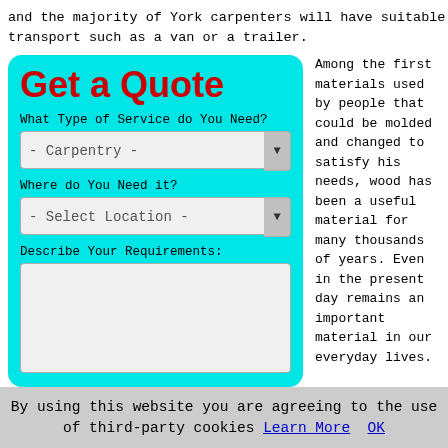and the majority of York carpenters will have suitable transport such as a van or a trailer.
[Figure (screenshot): Get a Quote form with cyan background, red heading 'Get a Quote', dropdown for service type showing '- Carpentry -', dropdown for location showing '- Select Location -', and a text area for requirements]
Among the first materials used by people that could be molded and changed to satisfy his needs, wood has been a useful material for many thousands of years. Even in the present day remains an important material in our everyday lives.
By using this website you are agreeing to the use of third-party cookies Learn More OK